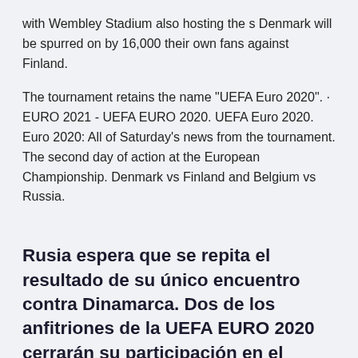with Wembley Stadium also hosting the s Denmark will be spurred on by 16,000 their own fans against Finland.
The tournament retains the name "UEFA Euro 2020". · EURO 2021 - UEFA EURO 2020. UEFA Euro 2020. Euro 2020: All of Saturday's news from the tournament. The second day of action at the European Championship. Denmark vs Finland and Belgium vs Russia.
Rusia espera que se repita el resultado de su único encuentro contra Dinamarca. Dos de los anfitriones de la UEFA EURO 2020 cerrarán su participación en el Grupo B en el Parken Stadium de